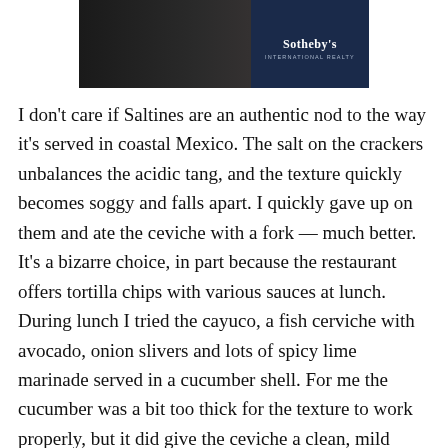[Figure (photo): Partial photo banner showing a dark door and a person with pink flowers, with a Sotheby's International Realty logo in the upper right corner.]
I don't care if Saltines are an authentic nod to the way it's served in coastal Mexico. The salt on the crackers unbalances the acidic tang, and the texture quickly becomes soggy and falls apart. I quickly gave up on them and ate the ceviche with a fork — much better. It's a bizarre choice, in part because the restaurant offers tortilla chips with various sauces at lunch. During lunch I tried the cayuco, a fish cerviche with avocado, onion slivers and lots of spicy lime marinade served in a cucumber shell. For me the cucumber was a bit too thick for the texture to work properly, but it did give the ceviche a clean, mild tone.
Lunch is also the only time that Fisheria serves a trio of noteworthy tacos. I loved the grilled octopus taco, served in a lovely, slightly grilled corn tortilla with a healthy dose